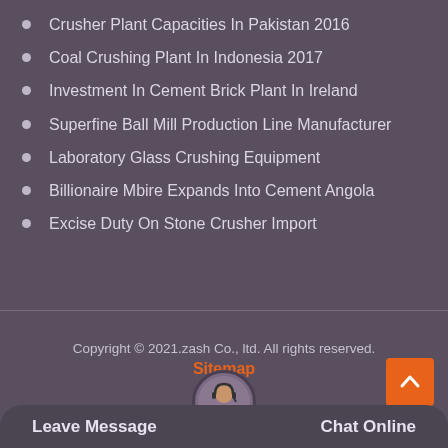Crusher Plant Capacities In Pakistan 2016
Coal Crushing Plant In Indonesia 2017
Investment In Cement Brick Plant In Ireland
Superfine Ball Mill Production Line Manufacturer
Laboratory Glass Crushing Equipment
Billionaire Mbire Expands Into Cement Angola
Excise Duty On Stone Crusher Import
Copyright © 2021.zash Co., ltd. All rights reserved. Sitemap
Leave Message
Chat Online